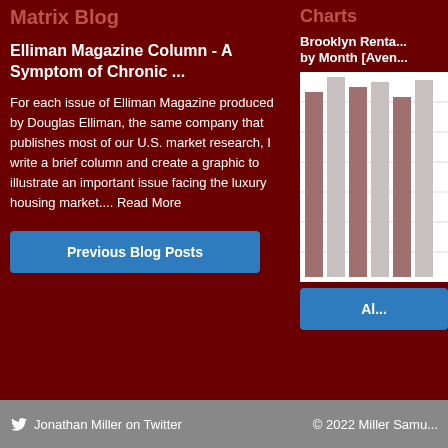Matrix Blog
Elliman Magazine Column - A Symptom of Chronic ...
For each issue of Elliman Magazine produced by Douglas Elliman, the same company that publishes most of our U.S. market research, I write a brief column and create a graphic to illustrate an important issue facing the luxury housing market.... Read More
Previous Blog Posts
Charts
Brooklyn Renta... by Month [Aven...
[Figure (bar-chart): Brooklyn rental chart showing bars by month, partially visible]
Al...
Jonathan Miller on Twitter   © 2022 Miller Samu...